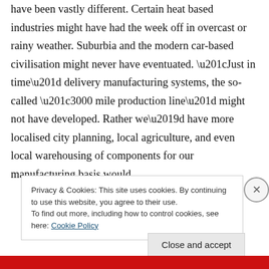Economic systems and town planning would have been vastly different. Certain heat based industries might have had the week off in overcast or rainy weather. Suburbia and the modern car-based civilisation might never have eventuated. “Just in time” delivery manufacturing systems, the so-called “3000 mile production line” might not have developed. Rather we’d have more localised city planning, local agriculture, and even local warehousing of components for our manufacturing basis would
Privacy & Cookies: This site uses cookies. By continuing to use this website, you agree to their use.
To find out more, including how to control cookies, see here: Cookie Policy
Close and accept